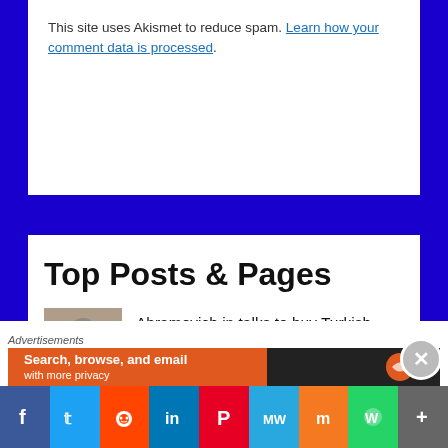This site uses Akismet to reduce spam. Learn how your comment data is processed.
Top Posts & Pages
Abramovich in talks to buy Turkish football club Goztepe
Kelvin Pacquette warns employers over minimum wage
BHTA Chairman Renée Coppin makes tourism vow
Advertisements
Search, browse, and email with more privacy